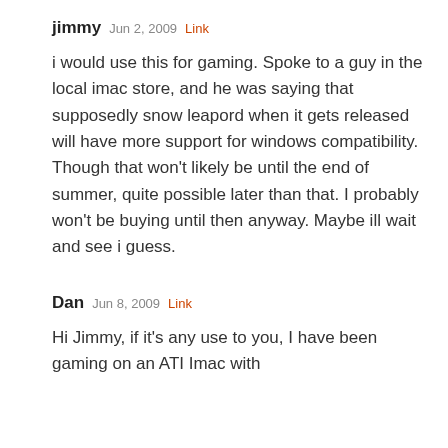jimmy  Jun 2, 2009  Link
i would use this for gaming. Spoke to a guy in the local imac store, and he was saying that supposedly snow leapord when it gets released will have more support for windows compatibility. Though that won't likely be until the end of summer, quite possible later than that. I probably won't be buying until then anyway. Maybe ill wait and see i guess.
Dan  Jun 8, 2009  Link
Hi Jimmy, if it's any use to you, I have been gaming on an ATI Imac with